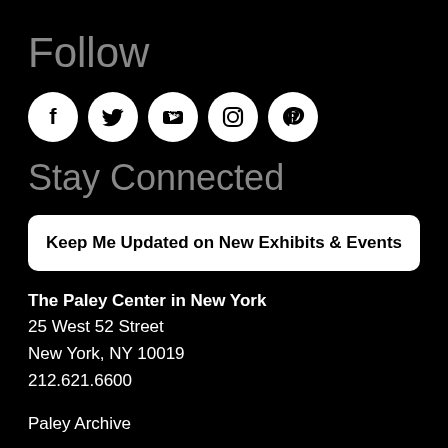Follow
[Figure (infographic): Row of 5 social media icons in white circles on black background: Facebook, Twitter, YouTube, Instagram, Pinterest]
Stay Connected
Keep Me Updated on New Exhibits & Events
The Paley Center in New York
25 West 52 Street
New York, NY 10019
212.621.6600
Paley Archive
Press Room
Careers